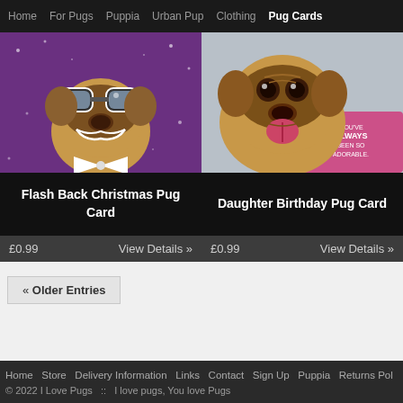Home  For Pugs  Puppia  Urban Pup  Clothing  Pug Cards
[Figure (photo): Pug dog wearing novelty goggles and bowtie on purple sparkly background]
Flash Back Christmas Pug Card
£0.99   View Details »
[Figure (photo): Pug dog with tongue out next to pink card reading YOU'VE ALWAYS BEEN SO ADORABLE]
Daughter Birthday Pug Card
£0.99   View Details »
« Older Entries
Home  Store  Delivery Information  Links  Contact  Sign Up  Puppia  Returns Pol
© 2022 I Love Pugs  ::  I love pugs, You love Pugs